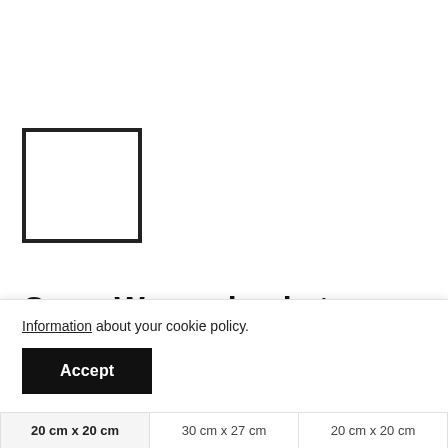[Figure (other): Empty square outline placeholder for a product image]
Carry Woven baskets
Information about your cookie policy.
Accept
20 cm x 20 cm   30 cm x 27 cm   20 cm x 20 cm